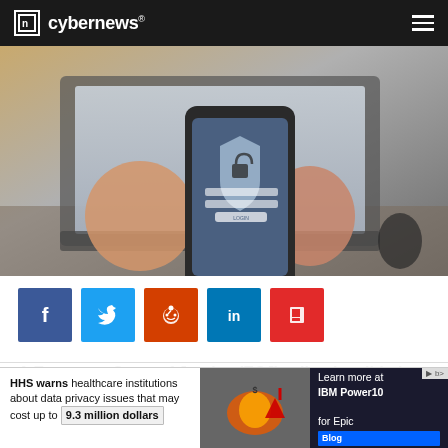cybernews®
[Figure (photo): Person holding a smartphone displaying a security shield/lock icon with login fields, with a laptop in the background on a desk]
[Figure (infographic): Social sharing buttons row: Facebook (blue), Twitter (blue), Reddit (orange-red), LinkedIn (teal-blue), Flipboard (red)]
A European Court of Justice (ECJ) ruling invalidating the
This website uses cookies. By continuing to use this website you are giving consent to cookies being used. Visit our Privacy Policy.
HHS warns healthcare institutions about data privacy issues that may cost up to 9.3 million dollars — Learn more at IBM Power10 for Epic Blog